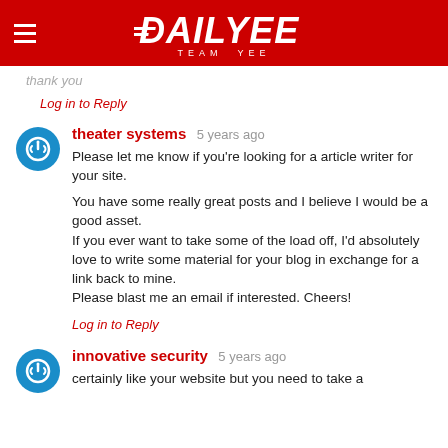DAILYEE — TEAM YEE
thank you
Log in to Reply
theater systems  5 years ago
Please let me know if you're looking for a article writer for your site.

You have some really great posts and I believe I would be a good asset.
If you ever want to take some of the load off, I'd absolutely love to write some material for your blog in exchange for a link back to mine.
Please blast me an email if interested. Cheers!
Log in to Reply
innovative security  5 years ago
certainly like your website but you need to take a